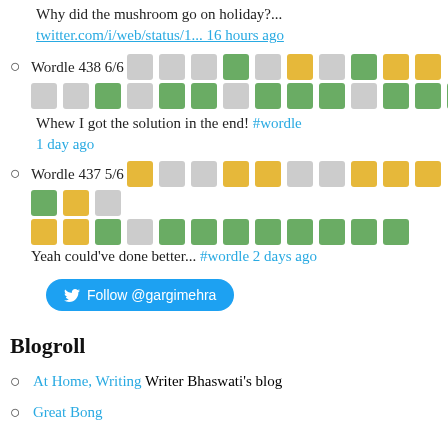Why did the mushroom go on holiday?...
twitter.com/i/web/status/1... 16 hours ago
Wordle 438 6/6 [grid of colored squares]
Whew I got the solution in the end! #wordle
1 day ago
Wordle 437 5/6 [grid of colored squares] Yeah could've done better... #wordle 2 days ago
Follow @gargimehra
Blogroll
At Home, Writing Writer Bhaswati's blog
Great Bong